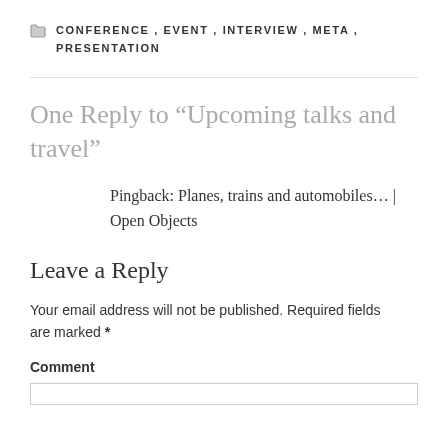CONFERENCE, EVENT, INTERVIEW, META, PRESENTATION
One Reply to “Upcoming talks and travel”
Pingback: Planes, trains and automobiles… | Open Objects
Leave a Reply
Your email address will not be published. Required fields are marked *
Comment